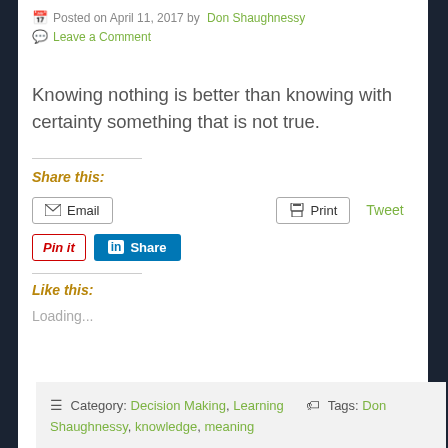Posted on April 11, 2017 by Don Shaughnessy
Leave a Comment
Knowing nothing is better than knowing with certainty something that is not true.
Share this:
Email  Print  Tweet
Pin it  Share
Like this:
Loading...
Category: Decision Making, Learning   Tags: Don Shaughnessy, knowledge, meaning